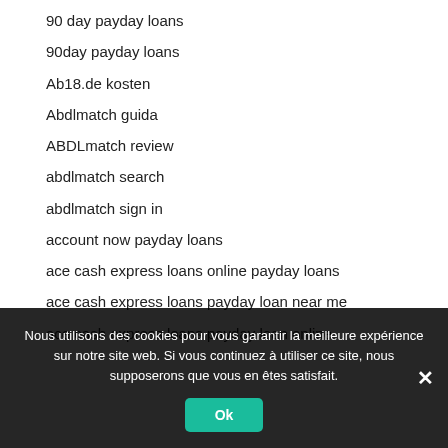90 day payday loans
90day payday loans
Ab18.de kosten
Abdlmatch guida
ABDLmatch review
abdlmatch search
abdlmatch sign in
account now payday loans
ace cash express loans online payday loans
ace cash express loans payday loan near me
ace cash express loans payday loan online
Nous utilisons des cookies pour vous garantir la meilleure expérience sur notre site web. Si vous continuez à utiliser ce site, nous supposerons que vous en êtes satisfait.